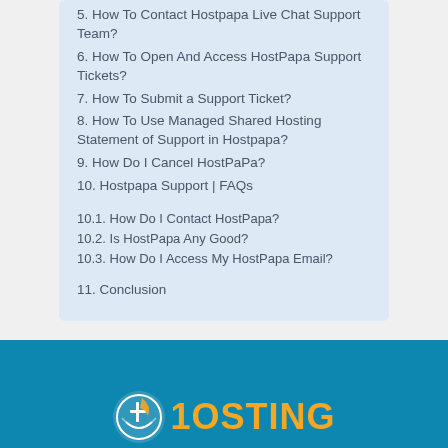5. How To Contact Hostpapa Live Chat Support Team?
6. How To Open And Access HostPapa Support Tickets?
7. How To Submit a Support Ticket?
8. How To Use Managed Shared Hosting Statement of Support in Hostpapa?
9. How Do I Cancel HostPaPa?
10. Hostpapa Support | FAQs
10.1. How Do I Contact HostPapa?
10.2. Is HostPapa Any Good?
10.3. How Do I Access My HostPapa Email?
11. Conclusion
[Figure (logo): Hosting website logo with orange text reading 'HOSTING' and a circular icon]